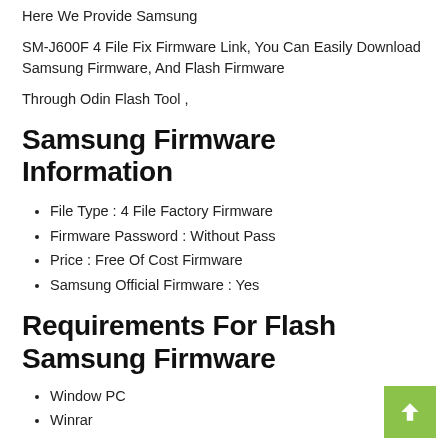Here We Provide Samsung
SM-J600F 4 File Fix Firmware Link, You Can Easily Download Samsung Firmware, And Flash Firmware
Through Odin Flash Tool ,
Samsung Firmware Information
File Type : 4 File Factory Firmware
Firmware Password : Without Pass
Price : Free Of Cost Firmware
Samsung Official Firmware : Yes
Requirements For Flash Samsung Firmware
Window PC
Winrar